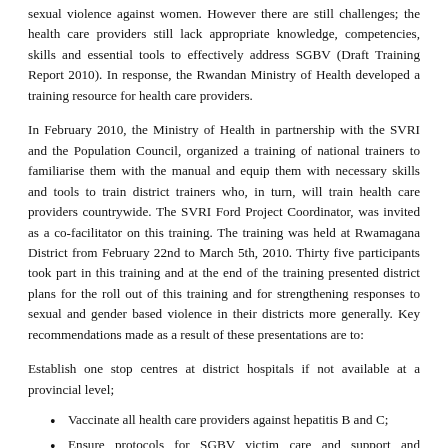sexual violence against women. However there are still challenges; the health care providers still lack appropriate knowledge, competencies, skills and essential tools to effectively address SGBV (Draft Training Report 2010). In response, the Rwandan Ministry of Health developed a training resource for health care providers.
In February 2010, the Ministry of Health in partnership with the SVRI and the Population Council, organized a training of national trainers to familiarise them with the manual and equip them with necessary skills and tools to train district trainers who, in turn, will train health care providers countrywide. The SVRI Ford Project Coordinator, was invited as a co-facilitator on this training. The training was held at Rwamagana District from February 22nd to March 5th, 2010. Thirty five participants took part in this training and at the end of the training presented district plans for the roll out of this training and for strengthening responses to sexual and gender based violence in their districts more generally. Key recommendations made as a result of these presentations are to:
Establish one stop centres at district hospitals if not available at a provincial level;
Vaccinate all health care providers against hepatitis B and C;
Ensure protocols for SGBV victim care and support and perpetrator management are available in all health services;